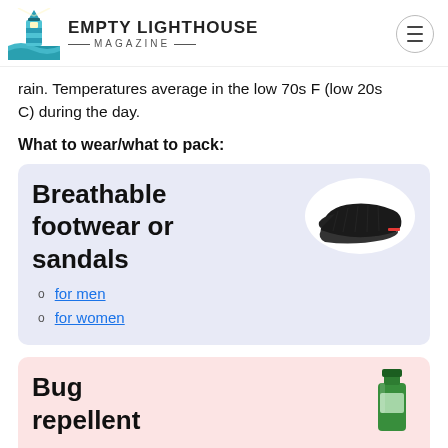Empty Lighthouse Magazine
rain. Temperatures average in the low 70s F (low 20s C) during the day.
What to wear/what to pack:
[Figure (illustration): Product card with dark blue/lavender background showing black breathable slip-on shoe image, title 'Breathable footwear or sandals', and links for men and women]
for men
for women
[Figure (illustration): Product card with pink/salmon background showing a green bug repellent bottle, title 'Bug repellent']